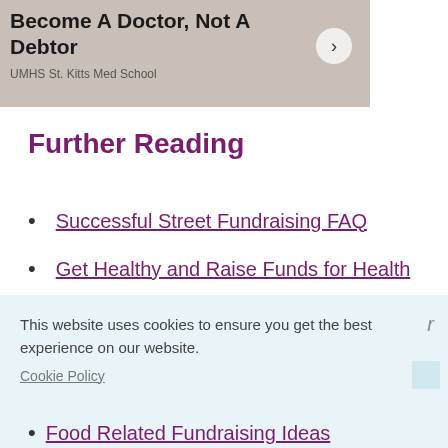[Figure (other): Advertisement banner for UMHS St. Kitts Med School with text 'Become A Doctor, Not A Debtor' and a circular arrow button]
Further Reading
Successful Street Fundraising FAQ
Get Healthy and Raise Funds for Health
This website uses cookies to ensure you get the best experience on our website.
Cookie Policy
Food Related Fundraising Ideas